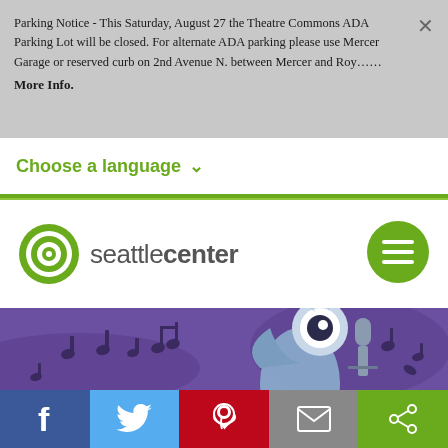Parking Notice - This Saturday, August 27 the Theatre Commons ADA Parking Lot will be closed. For alternate ADA parking please use Mercer Garage or reserved curb on 2nd Avenue N. between Mercer and Roy…… More Info.
Choose a language ∨
[Figure (logo): Seattle Center logo: green circular target icon followed by text 'seattle center' in gray, and a green circular hamburger menu icon on the right]
[Figure (illustration): Purple background illustration with musical notes and a cartoon bird character holding a microphone]
[Figure (infographic): Social sharing bar with Facebook (blue), Twitter (light blue), Pinterest (red), Email (gray), and Share (green) buttons]